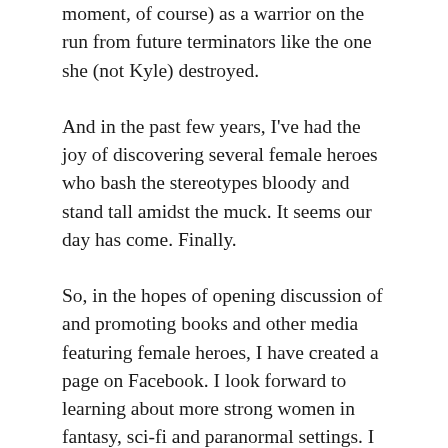moment, of course) as a warrior on the run from future terminators like the one she (not Kyle) destroyed.
And in the past few years, I've had the joy of discovering several female heroes who bash the stereotypes bloody and stand tall amidst the muck. It seems our day has come. Finally.
So, in the hopes of opening discussion of and promoting books and other media featuring female heroes, I have created a page on Facebook. I look forward to learning about more strong women in fantasy, sci-fi and paranormal settings. I also want to encourage discussion of what makes a healthy and realistic female hero as